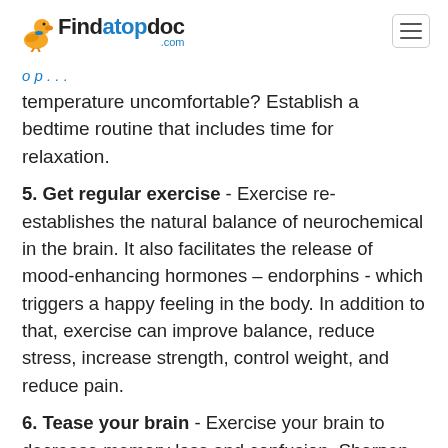Findatopdoc.com
temperature uncomfortable? Establish a bedtime routine that includes time for relaxation.
5. Get regular exercise - Exercise re-establishes the natural balance of neurochemical in the brain. It also facilitates the release of mood-enhancing hormones – endorphins - which triggers a happy feeling in the body. In addition to that, exercise can improve balance, reduce stress, increase strength, control weight, and reduce pain.
6. Tease your brain - Exercise your brain to decrease memory loss and confusion. Sharpen your mental skills with games such as Scrabble, chess, checkers